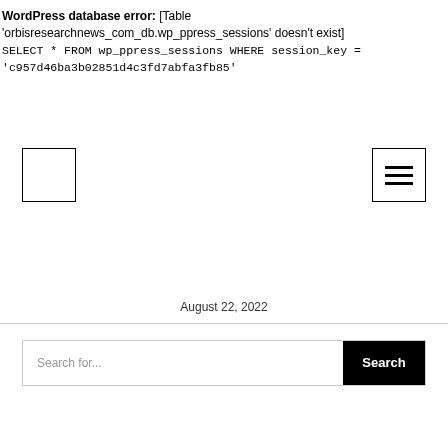WordPress database error: [Table 'orbisresearchnews_com_db.wp_ppress_sessions' doesn't exist]
SELECT * FROM wp_ppress_sessions WHERE session_key = 'c957d46ba3b02851d4c3fd7abfa3fb85'
[Figure (other): Logo placeholder box (white square with black border)]
[Figure (other): Hamburger menu icon with three horizontal lines inside a bordered square]
August 22, 2022
Search for...  Search